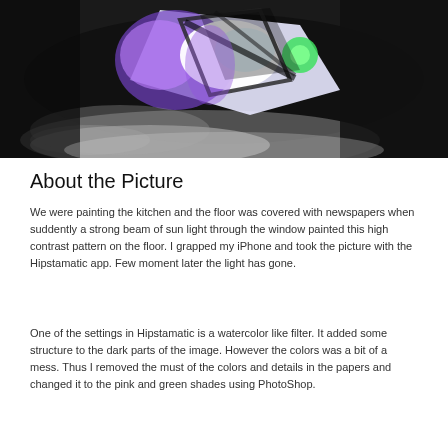[Figure (photo): A photograph taken with the Hipstamatic app showing newspapers on a kitchen floor with a high contrast beam of sunlight creating a dramatic pattern. The image has dark areas, purple/violet light effects, and a watercolor-like filter applied. Objects including what appear to be phone or device shapes are visible in the bright areas.]
About the Picture
We were painting the kitchen and the floor was covered with newspapers when suddently a strong beam of sun light through the window painted this high contrast pattern on the floor. I grapped my iPhone and took the picture with the Hipstamatic app. Few moment later the light has gone.
One of the settings in Hipstamatic is a watercolor like filter. It added some structure to the dark parts of the image. However the colors was a bit of a mess. Thus I removed the must of the colors and details in the papers and changed it to the pink and green shades using PhotoShop.